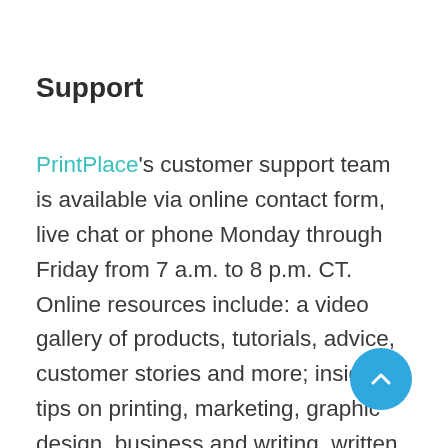Support
PrintPlace's customer support team is available via online contact form, live chat or phone Monday through Friday from 7 a.m. to 8 p.m. CT. Online resources include: a video gallery of products, tutorials, advice, customer stories and more; insider tips on printing, marketing, graphic design, business and writing, written by industry professionals; a section of frequently asked questions; a blog which you can search through.